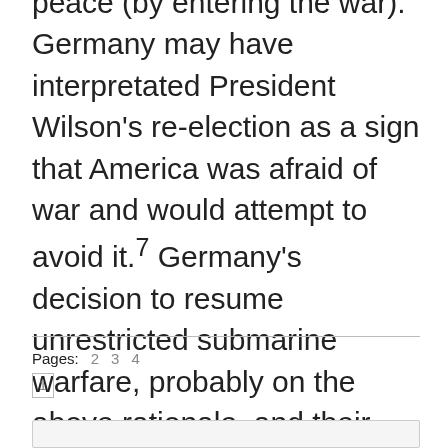peace (by entering the war). Germany may have interpretated President Wilson's re-election as a sign that America was afraid of war and would attempt to avoid it.7 Germany's decision to resume unrestricted submarine warfare, probably on the above rationale, and their dalliances with Mexico tempting them to engage in hostilities with the United States eventually tipped the scales. War was declared on Germany as the Americans entered the Allied side.
Pages: 2 3 4 1